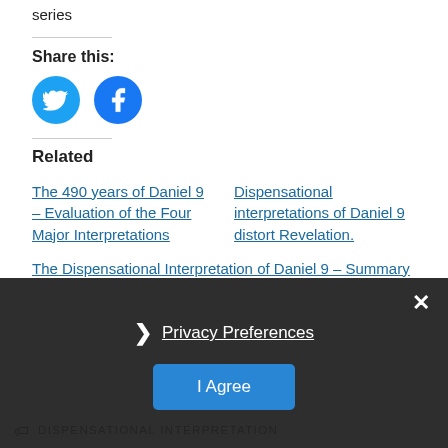series
Share this:
[Figure (illustration): Twitter and Facebook social share icon buttons (circles with bird and f logos)]
Related
The 490 years of Daniel 9 – Evaluation of the Four Major Interpretations
Dispensational interpretations of Daniel 9 distort Revelation.
The Dispensational Interpretation of Daniel 9 – Summary
Privacy Preferences
I Agree
DISPENSATIONAL INTERPRETATION